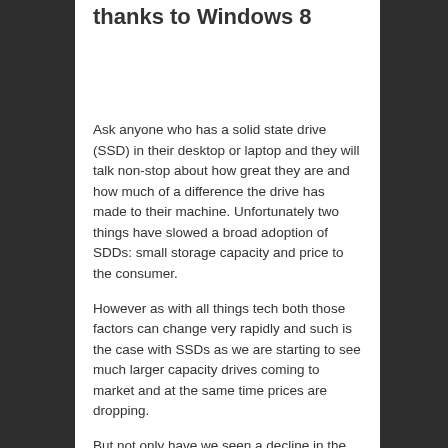thanks to Windows 8
Ask anyone who has a solid state drive (SSD) in their desktop or laptop and they will talk non-stop about how great they are and how much of a difference the drive has made to their machine. Unfortunately two things have slowed a broad adoption of SDDs: small storage capacity and price to the consumer.
However as with all things tech both those factors can change very rapidly and such is the case with SSDs as we are starting to see much larger capacity drives coming to market and at the same time prices are dropping.
But not only have we seen a decline in the ...